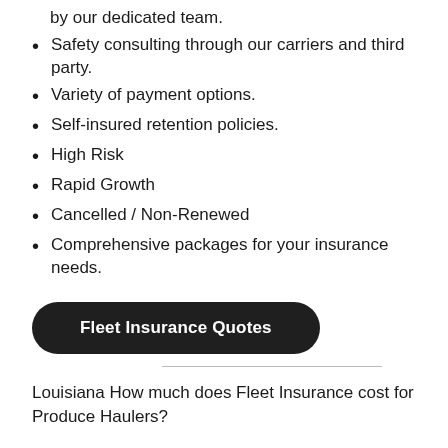by our dedicated team.
Safety consulting through our carriers and third party.
Variety of payment options.
Self-insured retention policies.
High Risk
Rapid Growth
Cancelled / Non-Renewed
Comprehensive packages for your insurance needs.
Fleet Insurance Quotes
Louisiana How much does Fleet Insurance cost for Produce Haulers?
FL – GA – NC – SC – OH – MI – PA – TX – AZ – IL – IA –